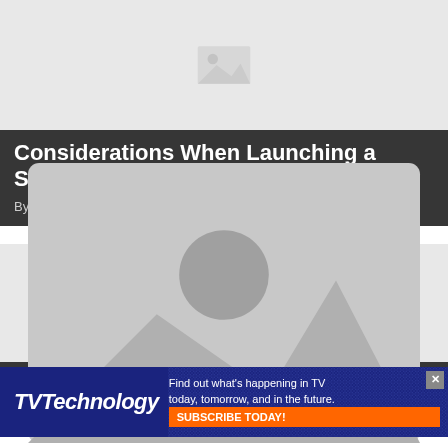[Figure (photo): Placeholder image for article 1]
Considerations When Launching a Startup Channel
By Craig Buckland 22 days ago
[Figure (photo): Placeholder image for article 2]
National Linear Addressable Demands Smarter Impression Decisioning
[Figure (infographic): TVTechnology advertisement banner: Find out what's happening in TV today, tomorrow, and in the future. SUBSCRIBE TODAY!]